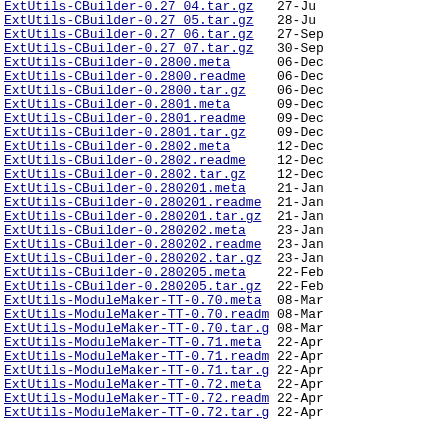ExtUtils-CBuilder-0.27 04.tar.gz  27-Ju
ExtUtils-CBuilder-0.27 05.tar.gz  28-Ju
ExtUtils-CBuilder-0.27 06.tar.gz  27-Sep
ExtUtils-CBuilder-0.27 07.tar.gz  30-Sep
ExtUtils-CBuilder-0.2800.meta  06-Dec
ExtUtils-CBuilder-0.2800.readme  06-Dec
ExtUtils-CBuilder-0.2800.tar.gz  06-Dec
ExtUtils-CBuilder-0.2801.meta  09-Dec
ExtUtils-CBuilder-0.2801.readme  09-Dec
ExtUtils-CBuilder-0.2801.tar.gz  09-Dec
ExtUtils-CBuilder-0.2802.meta  12-Dec
ExtUtils-CBuilder-0.2802.readme  12-Dec
ExtUtils-CBuilder-0.2802.tar.gz  12-Dec
ExtUtils-CBuilder-0.280201.meta  21-Jan
ExtUtils-CBuilder-0.280201.readme  21-Jan
ExtUtils-CBuilder-0.280201.tar.gz  21-Jan
ExtUtils-CBuilder-0.280202.meta  23-Jan
ExtUtils-CBuilder-0.280202.readme  23-Jan
ExtUtils-CBuilder-0.280202.tar.gz  23-Jan
ExtUtils-CBuilder-0.280205.meta  22-Feb
ExtUtils-CBuilder-0.280205.tar.gz  22-Feb
ExtUtils-ModuleMaker-TT-0.70.meta  08-Mar
ExtUtils-ModuleMaker-TT-0.70.readme  08-Mar
ExtUtils-ModuleMaker-TT-0.70.tar.gz  08-Mar
ExtUtils-ModuleMaker-TT-0.71.meta  22-Apr
ExtUtils-ModuleMaker-TT-0.71.readme  22-Apr
ExtUtils-ModuleMaker-TT-0.71.tar.gz  22-Apr
ExtUtils-ModuleMaker-TT-0.72.meta  22-Apr
ExtUtils-ModuleMaker-TT-0.72.readme  22-Apr
ExtUtils-ModuleMaker-TT-0.72.tar.gz  22-Apr